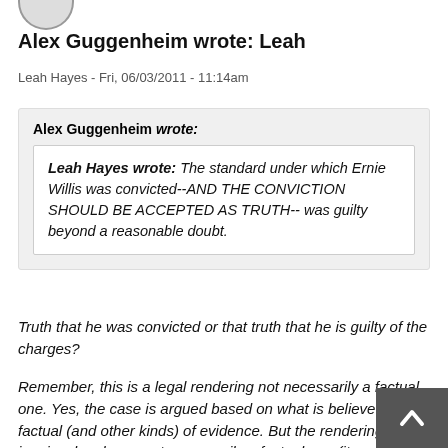[Figure (illustration): Partial avatar circle icon at top left]
Alex Guggenheim wrote: Leah
Leah Hayes - Fri, 06/03/2011 - 11:14am
Alex Guggenheim wrote: Leah Hayes wrote: The standard under which Ernie Willis was convicted--AND THE CONVICTION SHOULD BE ACCEPTED AS TRUTH-- was guilty beyond a reasonable doubt.
Truth that he was convicted or that truth that he is guilty of the charges?
Remember, this is a legal rendering not necessarily a factual one. Yes, the case is argued based on what is believed to be factual (and other kinds) of evidence. But the rendering by the jury is a legal one, not necessarily a factual one (it may be but jury renderings themselves are legal determinations and